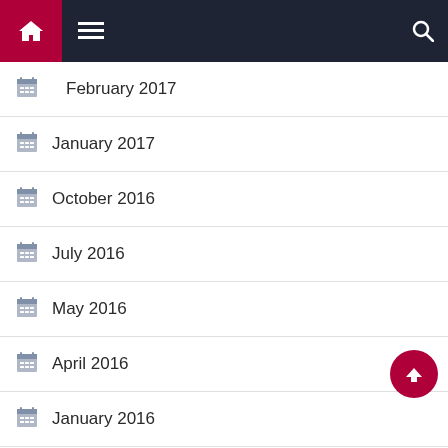Navigation bar with home, menu, and search icons
February 2017
January 2017
October 2016
July 2016
May 2016
April 2016
January 2016
August 2015
May 2015
April 2015